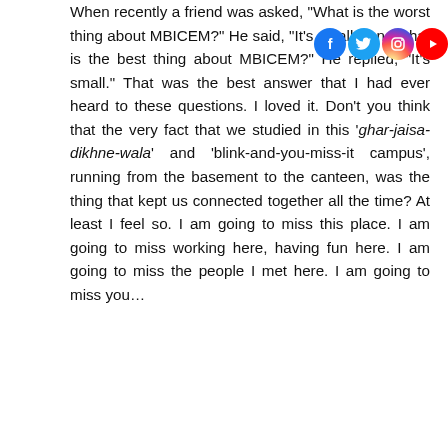When recently a friend was asked, "What is the worst thing about MBICEM?" He said, "It's small." And what is the best thing about MBICEM?" He replied, "It's small." That was the best answer that I had ever heard to these questions. I loved it. Don't you think that the very fact that we studied in this 'ghar-jaisa-dikhne-wala' and 'blink-and-you-miss-it campus', running from the basement to the canteen, was the thing that kept us connected together all the time? At least I feel so. I am going to miss this place. I am going to miss working here, having fun here. I am going to miss the people I met here. I am going to miss you…
[Figure (other): Social media icons: Facebook, Twitter, Instagram, YouTube]